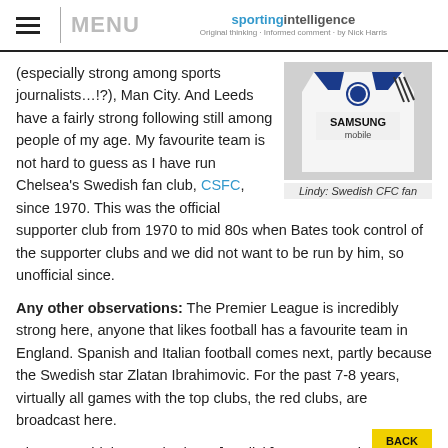MENU | sporting intelligence
(especially strong among sports journalists…!?), Man City. And Leeds have a fairly strong following still among people of my age. My favourite team is not hard to guess as I have run Chelsea's Swedish fan club, CSFC, since 1970. This was the official supporter club from 1970 to mid 80s when Bates took control of the supporter clubs and we did not want to be run by him, so unofficial since.
[Figure (photo): Chelsea FC white Samsung mobile jersey shirt]
Lindy: Swedish CFC fan
Any other observations: The Premier League is incredibly strong here, anyone that likes football has a favourite team in England. Spanish and Italian football comes next, partly because the Swedish star Zlatan Ibrahimovic. For the past 7-8 years, virtually all games with the top clubs, the red clubs, are broadcast here.
Since '67 I think we've had one [English] game a week which basis for the extremely strong position here, as well as in th